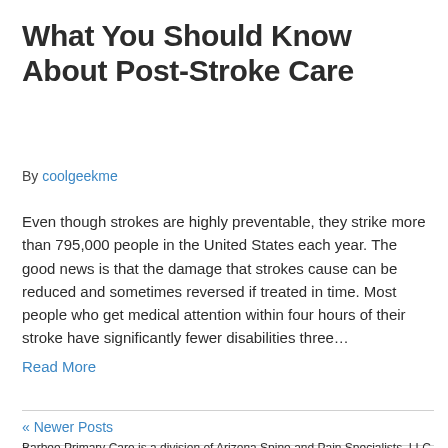What You Should Know About Post-Stroke Care
By coolgeekme
Even though strokes are highly preventable, they strike more than 795,000 people in the United States each year. The good news is that the damage that strokes cause can be reduced and sometimes reversed if treated in time. Most people who get medical attention within four hours of their stroke have significantly fewer disabilities three…
Read More
« Newer Posts
Barbee Primary Care is a division of Arizona Spine and Pain Specialists, LLC